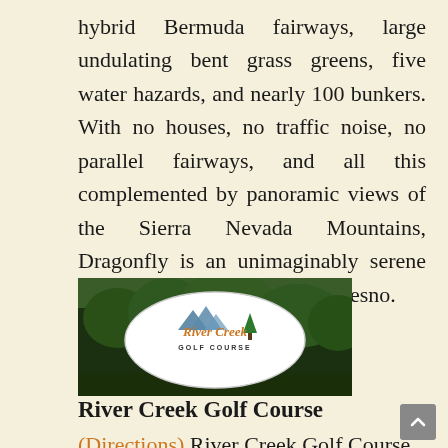hybrid Bermuda fairways, large undulating bent grass greens, five water hazards, and nearly 100 bunkers. With no houses, no traffic noise, no parallel fairways, and all this complemented by panoramic views of the Sierra Nevada Mountains, Dragonfly is an unimaginably serene setting just 10 minutes from Fresno.
[Figure (logo): River Creek Golf Course logo — oval logo with mountain and tree imagery, text 'River Creek' in orange script and 'GOLF COURSE' below, set against a background of green forest trees.]
River Creek Golf Course
(Directions) River Creek Golf Course is less than